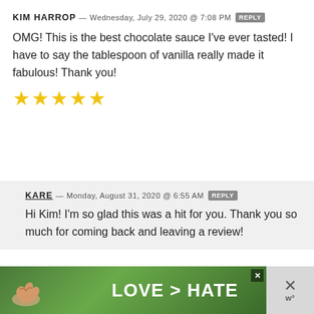KIM HARROP — WEDNESDAY, JULY 29, 2020 @ 7:08 PM [REPLY]
OMG! This is the best chocolate sauce I've ever tasted! I have to say the tablespoon of vanilla really made it fabulous! Thank you!
[Figure (other): 5 yellow star rating icons]
KARE — MONDAY, AUGUST 31, 2020 @ 6:55 AM [REPLY]
Hi Kim! I'm so glad this was a hit for you. Thank you so much for coming back and leaving a review!
[Figure (photo): Advertisement banner showing hands forming a heart shape with text LOVE > HATE on a green background]